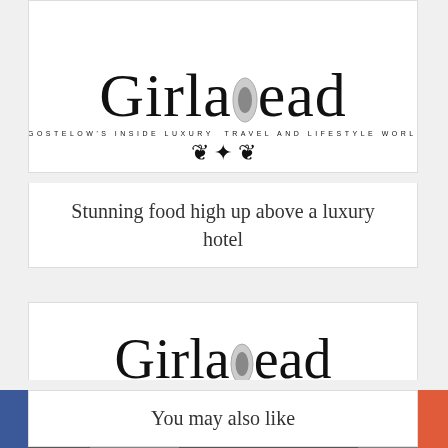[Figure (logo): Girlahead logo - Mary Gostelow's Inside Luxury Travel and Lifestyle Worldwide, partial/cropped at top]
Stunning food high up above a luxury hotel
[Figure (logo): Girlahead logo - Mary Gostelow's Inside Luxury Travel and Lifestyle Worldwide, full logo with ornamental divider]
Style in welcome, a lounge and farewell, at a luxury Singapore hotel
You may also like